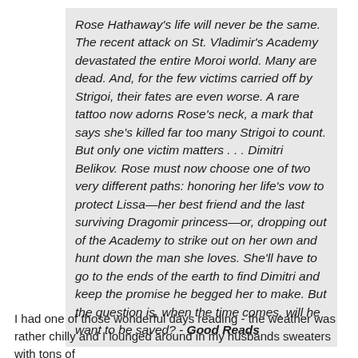Rose Hathaway's life will never be the same. The recent attack on St. Vladimir's Academy devastated the entire Moroi world. Many are dead. And, for the few victims carried off by Strigoi, their fates are even worse. A rare tattoo now adorns Rose's neck, a mark that says she's killed far too many Strigoi to count. But only one victim matters . . . Dimitri Belikov. Rose must now choose one of two very different paths: honoring her life's vow to protect Lissa—her best friend and the last surviving Dragomir princess—or, dropping out of the Academy to strike out on her own and hunt down the man she loves. She'll have to go to the ends of the earth to find Dimitri and keep the promise he begged her to make. But the question is, when the time comes, will he want to be saved? - Good Reads
I had one of those wonderful days reading - the weather was rather chilly and I lounged around in my husbands sweaters with tons of